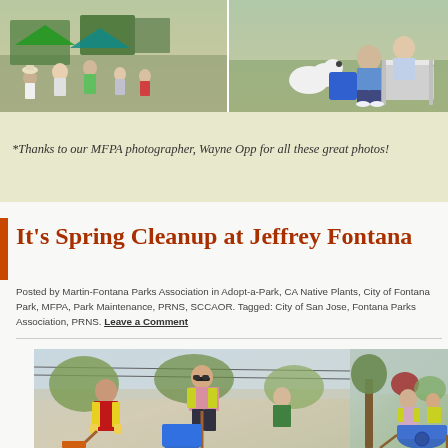[Figure (photo): Outdoor park event/gathering with people socializing under trees with tents visible]
[Figure (photo): People with a dog sitting outdoors on grass]
*Thanks to our MFPA photographer, Wayne Opp for all these great photos!
It’s Spring Cleanup at Jeffrey Fontana
Posted by Martin-Fontana Parks Association in Adopt-a-Park, CA Native Plants, City of Fontana Park, MFPA, Park Maintenance, PRNS, SCCAOR. Tagged: City of San Jose, Fontana Parks Association, PRNS. Leave a Comment
[Figure (photo): Volunteers in yellow vests doing spring cleanup work with rakes and tools]
[Figure (photo): Volunteer with wheelbarrow doing cleanup at Jeffrey Fontana Park]